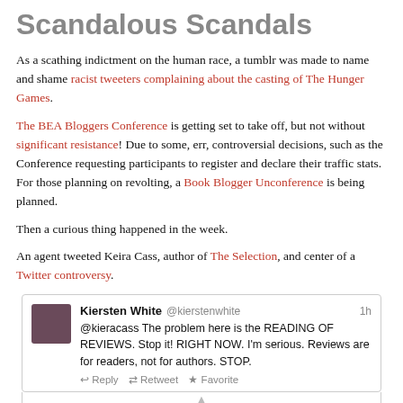Scandalous Scandals
As a scathing indictment on the human race, a tumblr was made to name and shame racist tweeters complaining about the casting of The Hunger Games.
The BEA Bloggers Conference is getting set to take off, but not without significant resistance! Due to some, err, controversial decisions, such as the Conference requesting participants to register and declare their traffic stats. For those planning on revolting, a Book Blogger Unconference is being planned.
Then a curious thing happened in the week.
An agent tweeted Keira Cass, author of The Selection, and center of a Twitter controversy.
[Figure (screenshot): Tweet from Kiersten White @kierstenwhite: '@kieracass The problem here is the READING OF REVIEWS. Stop it! RIGHT NOW. I'm serious. Reviews are for readers, not for authors. STOP.' with Reply, Retweet, Favorite actions. Followed by start of tweet from Michelle Wolfson @WolfsonLiterary with Follow button, beginning '@kierstenwhite @kieracass And for agents who']